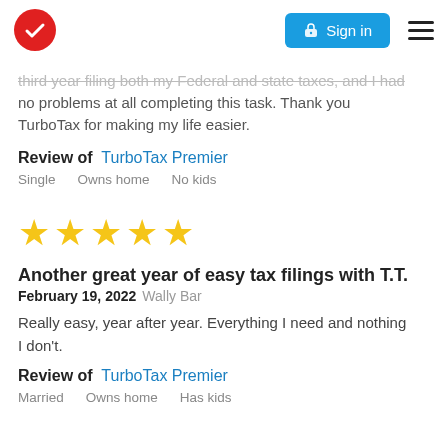TurboTax logo | Sign in | Menu
third year filing both my Federal and state taxes, and I had no problems at all completing this task. Thank you TurboTax for making my life easier.
Review of  TurboTax Premier
Single    Owns home    No kids
[Figure (other): Five gold star rating]
Another great year of easy tax filings with T.T.
February 19, 2022 Wally Bar
Really easy, year after year. Everything I need and nothing I don't.
Review of  TurboTax Premier
Married    Owns home    Has kids